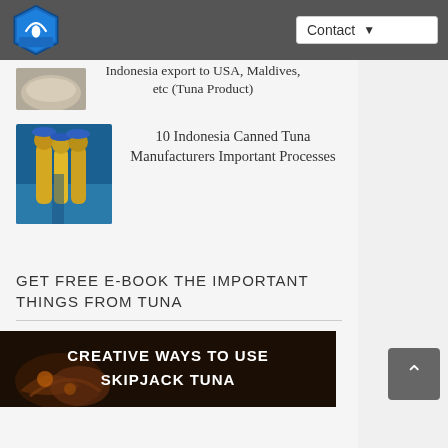Contact
[Figure (photo): Partial view of a food product (tuna) at the top]
Indonesia export to USA, Maldives, etc (Tuna Product)
[Figure (photo): Workers in yellow uniforms inside a canned tuna manufacturing facility]
10 Indonesia Canned Tuna Manufacturers Important Processes
GET FREE E-BOOK THE IMPORTANT THINGS FROM TUNA
[Figure (photo): Dark background with skipjack tuna image and text: CREATIVE WAYS TO USE SKIPJACK TUNA]